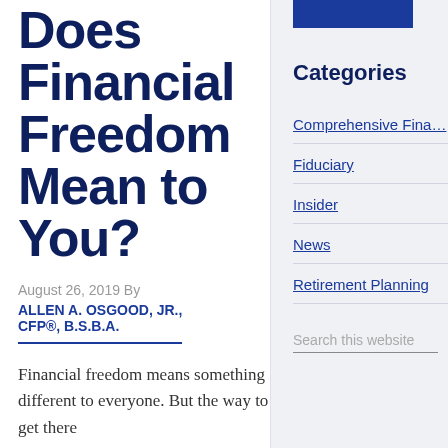Does Financial Freedom Mean to You?
August 26, 2019 By ALLEN A. OSGOOD, JR., CFP®, B.S.B.A.
Financial freedom means something different to everyone. But the way to get there
Categories
Comprehensive Fina…
Fiduciary
Insider
News
Retirement Planning
Search this website